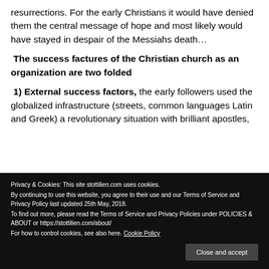resurrections. For the early Christians it would have denied them the central message of hope and most likely would have stayed in despair of the Messiahs death…
The success factures of the Christian church as an organization are two folded
1) External success factors, the early followers used the globalized infrastructure (streets, common languages Latin and Greek) a revolutionary situation with brilliant apostles,
Privacy & Cookies: This site stottilien.com uses cookies.
By continuing to use this website, you agree to their use and our Terms of Service and Privacy Policy last updated 25th May, 2018.
To find out more, please read the Terms of Service and Privacy Policies under POLICIES & ABOUT or https://stottilien.com/about/
For how to control cookies, see also here. Cookie Policy